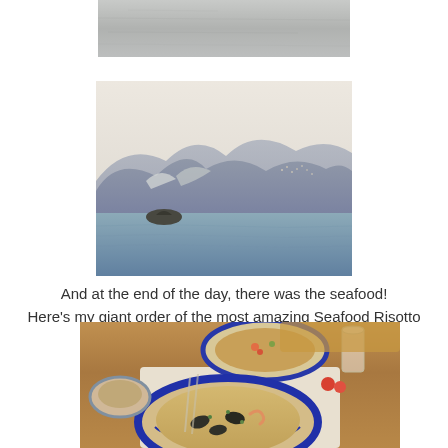[Figure (photo): Partial photo of a snowy or icy textured surface, cropped at top of page]
[Figure (photo): Coastal landscape photo showing a calm sea with a small rocky island, mountains and a hillside town in the background under a hazy sky]
And at the end of the day, there was the seafood!
Here's my giant order of the most amazing Seafood Risotto
[Figure (photo): Photo of a restaurant table with a large decorative blue and white plate of Seafood Risotto in the foreground, another plate of food and wine glass in the background]